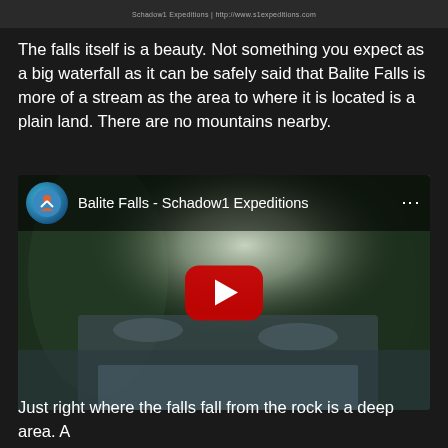[Figure (screenshot): Top image strip with watermark text 'Schadow1 Expeditions | http://www.s1expeditions.com']
The falls itself is a beauty. Not something you expect as a big waterfall as it can be safely said that Balite Falls is more of a stream as the area to where it is located is a plain land. There are no mountains nearby.
[Figure (screenshot): Embedded YouTube video thumbnail showing Balite Falls waterfall with play button. Video title: 'Balite Falls - Schadow1 Expeditions'. Channel icon visible on left.]
Just right where the falls fall from the rock is a deep area. A